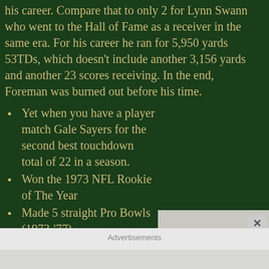his career. Compare that to only 2 for Lynn Swann who went to the Hall of Fame as a receiver in the same era. For his career he ran for 5,950 yards 53TDs, which doesn't include another 3,156 yards and another 23 scores receiving. In the end, Foreman was burned out before his time.
Yet when you have a player match Gale Sayers for the second best touchdown total of 22 in a season.
Won the 1973 NFL Rookie of The Year
Made 5 straight Pro Bowls (1973-'77)
Led the NFL in TDs in both 1974 & 1975.
[Figure (photo): A shiny gold NFL trophy (appears to be a Lombardi-style trophy or award), metallic football on top of a stand, photographed against a light background.]
Advertisements